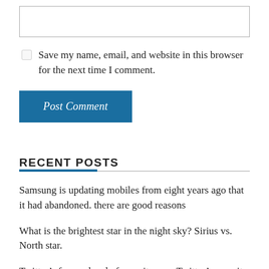[Figure (other): Empty text input box (comment form field)]
Save my name, email, and website in this browser for the next time I comment.
Post Comment
RECENT POSTS
Samsung is updating mobiles from eight years ago that it had abandoned. there are good reasons
What is the brightest star in the night sky? Sirius vs. North star.
Twitter’s former head of security says Twitter’s security was a mess. It’s dynamite for Musk